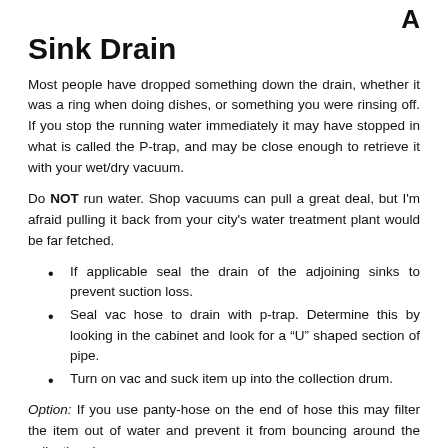A
Sink Drain
Most people have dropped something down the drain, whether it was a ring when doing dishes, or something you were rinsing off. If you stop the running water immediately it may have stopped in what is called the P-trap, and may be close enough to retrieve it with your wet/dry vacuum.
Do NOT run water. Shop vacuums can pull a great deal, but I'm afraid pulling it back from your city's water treatment plant would be far fetched.
If applicable seal the drain of the adjoining sinks to prevent suction loss.
Seal vac hose to drain with p-trap. Determine this by looking in the cabinet and look for a “U” shaped section of pipe.
Turn on vac and suck item up into the collection drum.
Option: If you use panty-hose on the end of hose this may filter the item out of water and prevent it from bouncing around the collection drum.
Note: Success will vary based on sink and pipes, as well as if the item was not washed away.